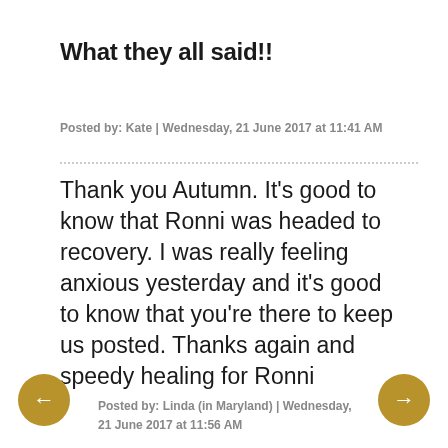What they all said!!
Posted by: Kate | Wednesday, 21 June 2017 at 11:41 AM
Thank you Autumn. It's good to know that Ronni was headed to recovery. I was really feeling anxious yesterday and it's good to know that you're there to keep us posted. Thanks again and speedy healing for Ronni
Posted by: Linda (in Maryland) | Wednesday, 21 June 2017 at 11:56 AM